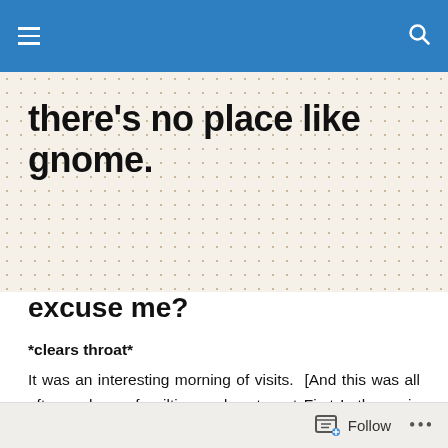Navigation header bar with menu and search icons
there's no place like gnome.
excuse me?
*clears throat*
It was an interesting morning of visits.  [And this was all after an hour of quilting and a stop at First Lutheran in Blooming to check out the lutefisk prep for the Cadillac of all church lutefisk dinners tomorrow.  I'll be the one in the red apron.]  Allow me to share.
I visited a woman for the first time at a care center.  We
Follow ...